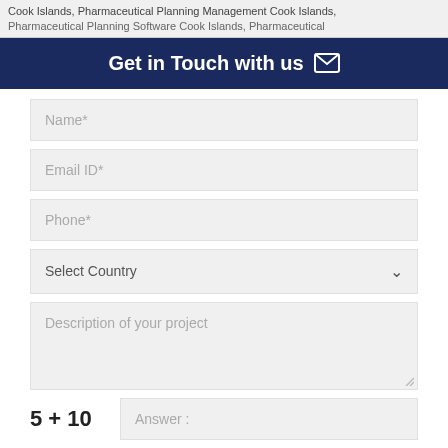Cook Islands, Pharmaceutical Planning Management Cook Islands, Pharmaceutical Planning Software Cook Islands, Pharmaceutical
Get in Touch with us ✉
Name*
Email ID*
Phone*
Select Country
Description of your project
Answer :
SUBMIT